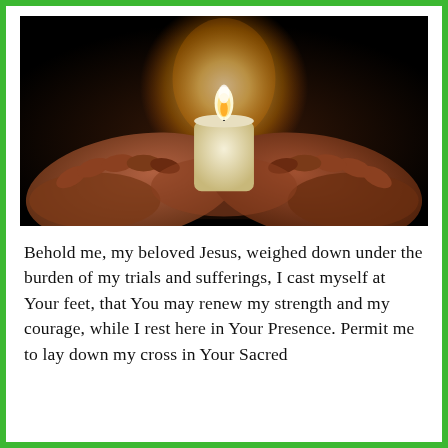[Figure (photo): Two cupped hands holding a lit white candle against a dark background, with warm candlelight illuminating the hands.]
Behold me, my beloved Jesus, weighed down under the burden of my trials and sufferings, I cast myself at Your feet, that You may renew my strength and my courage, while I rest here in Your Presence. Permit me to lay down my cross in Your Sacred Heart, for only You can...